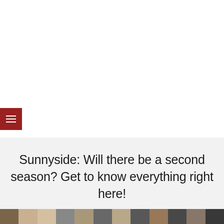☰ (hamburger menu button)
Sunnyside: Will there be a second season? Get to know everything right here!
[Figure (photo): Partial image strip at the bottom showing a group of people, likely cast members of the TV show Sunnyside]